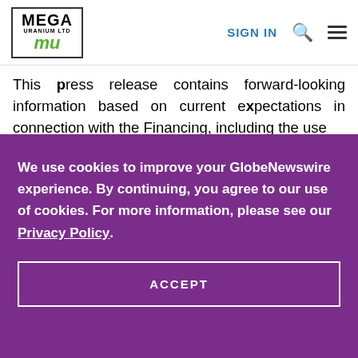MEGA URANIUM LTD | SIGN IN
This press release contains forward-looking information based on current expectations in connection with the Financing, including the use
We use cookies to improve your GlobeNewswire experience. By continuing, you agree to our use of cookies. For more information, please see our Privacy Policy.
ACCEPT